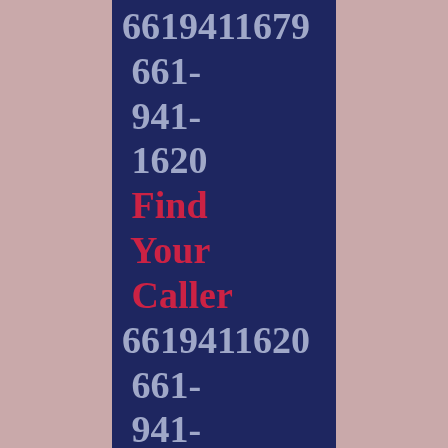6619411679 661- 941- 1620 Find Your Caller 6619411620 661- 941- 1606 Caller Finder 6619411606 661- 941-